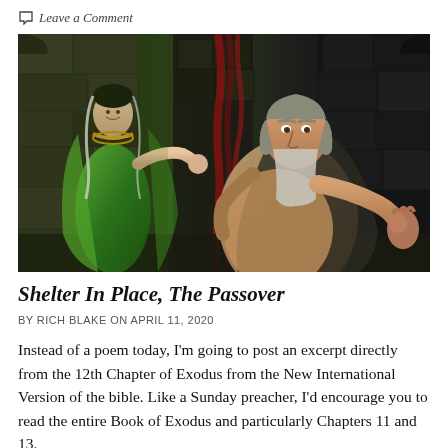Leave a Comment
[Figure (photo): Movie still showing a woman in green Egyptian-style costume on the left gesturing, and a bearded man in a tan robe on the right pressing against stone wall, set in a dark stone corridor.]
Shelter In Place, The Passover
BY RICH BLAKE ON APRIL 11, 2020
Instead of a poem today, I'm going to post an excerpt directly from the 12th Chapter of Exodus from the New International Version of the bible. Like a Sunday preacher, I'd encourage you to read the entire Book of Exodus and particularly Chapters 11 and 13.